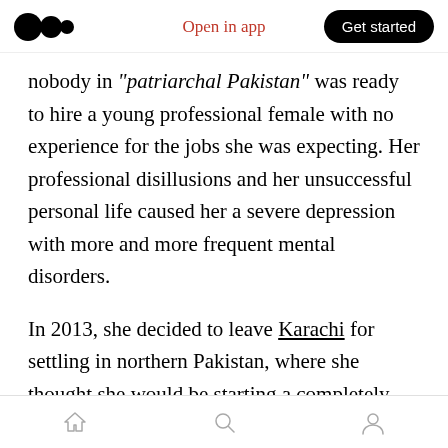Open in app | Get started
nobody in "patriarchal Pakistan" was ready to hire a young professional female with no experience for the jobs she was expecting. Her professional disillusions and her unsuccessful personal life caused her a severe depression with more and more frequent mental disorders.
In 2013, she decided to leave Karachi for settling in northern Pakistan, where she thought she would be starting a completely different existence. She even changed her first and last name. Unfortunately, unable to adapt to this harsh region and to get along with its
Home | Search | Profile